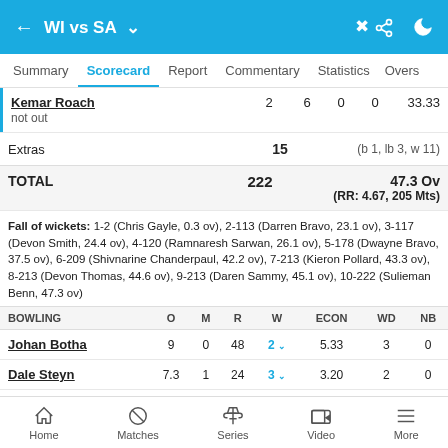WI vs SA
Scorecard
|  |  |  |  |  |  |
| --- | --- | --- | --- | --- | --- |
| Kemar Roach | 2 | 6 | 0 | 0 | 33.33 |
| not out |  |  |  |  |  |
| Extras | 15 |  |  |  | (b 1, lb 3, w 11) |
| TOTAL | 222 |  |  |  | 47.3 Ov (RR: 4.67, 205 Mts) |
Fall of wickets: 1-2 (Chris Gayle, 0.3 ov), 2-113 (Darren Bravo, 23.1 ov), 3-117 (Devon Smith, 24.4 ov), 4-120 (Ramnaresh Sarwan, 26.1 ov), 5-178 (Dwayne Bravo, 37.5 ov), 6-209 (Shivnarine Chanderpaul, 42.2 ov), 7-213 (Kieron Pollard, 43.3 ov), 8-213 (Devon Thomas, 44.6 ov), 9-213 (Daren Sammy, 45.1 ov), 10-222 (Sulieman Benn, 47.3 ov)
| BOWLING | O | M | R | W | ECON | WD | NB |
| --- | --- | --- | --- | --- | --- | --- | --- |
| Johan Botha | 9 | 0 | 48 | 2 | 5.33 | 3 | 0 |
| Dale Steyn | 7.3 | 1 | 24 | 3 | 3.20 | 2 | 0 |
Home  Matches  Series  Video  More